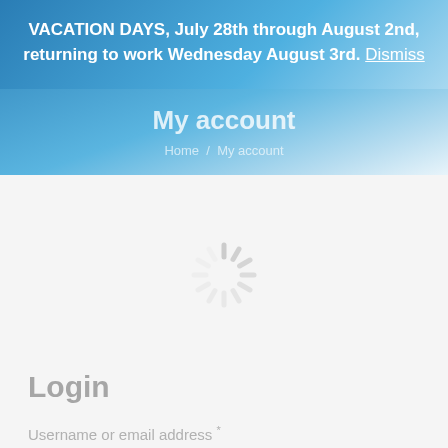VACATION DAYS, July 28th through August 2nd, returning to work Wednesday August 3rd. Dismiss
My account
Home / My account
[Figure (other): Loading spinner animation (gray radial lines spinner)]
Login
Username or email address *